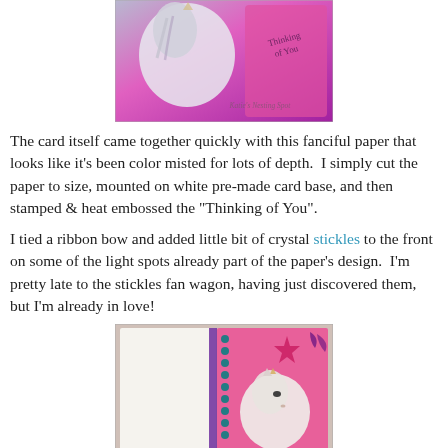[Figure (photo): Close-up photo of a card with a unicorn and purple/pink color-misted paper, with 'Thinking of You' stamped text and a watermark reading 'Katie's Nesting Spot']
The card itself came together quickly with this fanciful paper that looks like it's been color misted for lots of depth.  I simply cut the paper to size, mounted on white pre-made card base, and then stamped & heat embossed the "Thinking of You".
I tied a ribbon bow and added little bit of crystal stickles to the front on some of the light spots already part of the paper's design.  I'm pretty late to the stickles fan wagon, having just discovered them, but I'm already in love!
[Figure (photo): Photo of an open card/notebook showing a white unicorn on a pink background with teal dots and a purple star, with a purple ribbon spine]